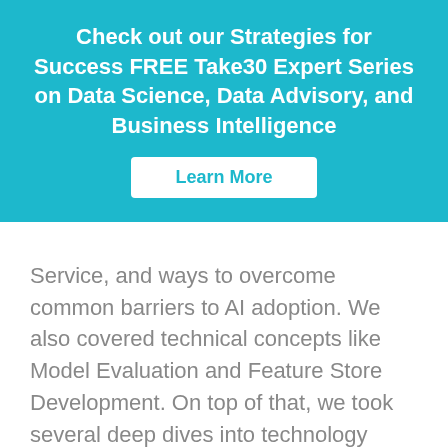Check out our Strategies for Success FREE Take30 Expert Series on Data Science, Data Advisory, and Business Intelligence
Learn More
Service, and ways to overcome common barriers to AI adoption. We also covered technical concepts like Model Evaluation and Feature Store Development. On top of that, we took several deep dives into technology partners including IBM Watson Auto AI, AWS Sagemaker Studio, Snowflake and DataRobot. Finally, we had a couple industry spotlights where we explored common use cases in Higher Education and